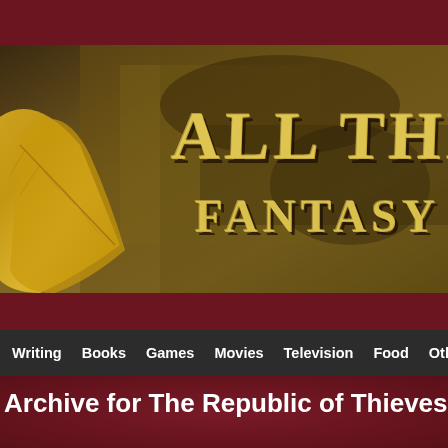[Figure (screenshot): Website header banner for 'All Things Fantasy' blog/site. Shows stylized golden text 'ALL THINGS' and 'FANTASY' on a textured earthy/golden stone background with a large golden leaf on the left side. The banner sits between a dark crimson top strip and a dark navigation bar. The overall color scheme is deep crimson red with gold.]
Writing  Books  Games  Movies  Television  Food  Other  Ga...
Archive for The Republic of Thieves